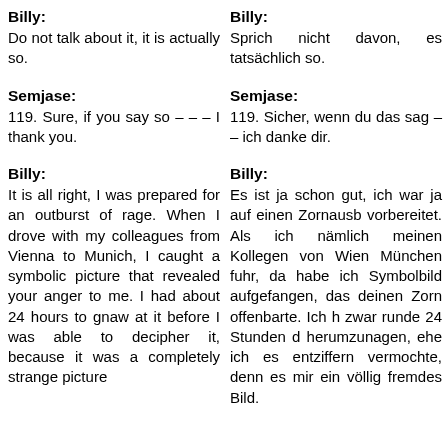Billy: Do not talk about it, it is actually so.
Billy: Sprich nicht davon, es tatsächlich so.
Semjase: 119. Sure, if you say so – – – I thank you.
Semjase: 119. Sicher, wenn du das sag – – ich danke dir.
Billy: It is all right, I was prepared for an outburst of rage. When I drove with my colleagues from Vienna to Munich, I caught a symbolic picture that revealed your anger to me. I had about 24 hours to gnaw at it before I was able to decipher it, because it was a completely strange picture
Billy: Es ist ja schon gut, ich war ja auf einen Zornausb vorbereitet. Als ich nämlich meinen Kollegen von Wien München fuhr, da habe ich Symbolbild aufgefangen, das deinen Zorn offenbarte. Ich h zwar runde 24 Stunden d herumzunagen, ehe ich es entziffern vermochte, denn es mir ein völlig fremdes Bild.